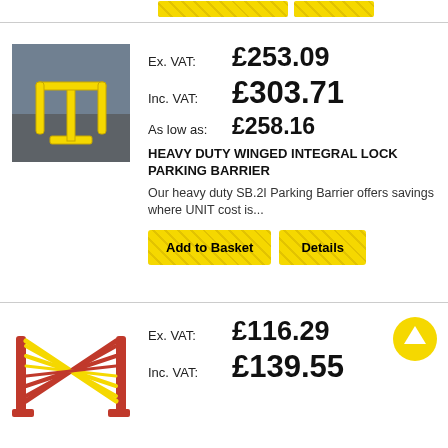[Figure (screenshot): Yellow 'Add to Basket' and 'Details' buttons at top of page (partially visible)]
[Figure (photo): Yellow heavy duty winged integral lock parking barrier on tarmac surface]
Ex. VAT: £253.09
Inc. VAT: £303.71
As low as: £258.16
HEAVY DUTY WINGED INTEGRAL LOCK PARKING BARRIER
Our heavy duty SB.2I Parking Barrier offers savings where UNIT cost is...
[Figure (screenshot): Yellow 'Add to Basket' button]
[Figure (screenshot): Yellow 'Details' button]
[Figure (photo): Red and yellow expandable scissor barrier product image]
Ex. VAT: £116.29
Inc. VAT: £139.55
[Figure (other): Yellow circle scroll-up arrow button]